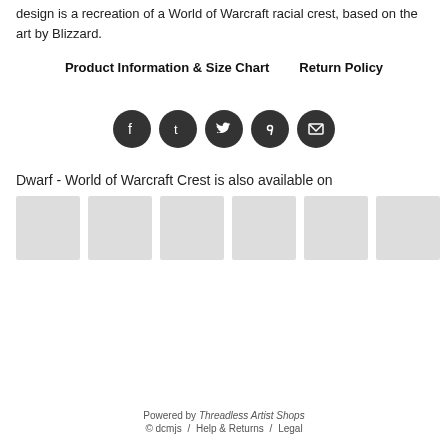design is a recreation of a World of Warcraft racial crest, based on the art by Blizzard.
Product Information & Size Chart    Return Policy
[Figure (other): Row of five social media share icons (Facebook, Tumblr, Twitter, Pinterest, Email) as dark circular buttons]
Dwarf - World of Warcraft Crest is also available on
[Figure (other): Row of six light gray product thumbnail placeholder images]
Powered by Threadless Artist Shops
© dcmjs / Help & Returns / Legal